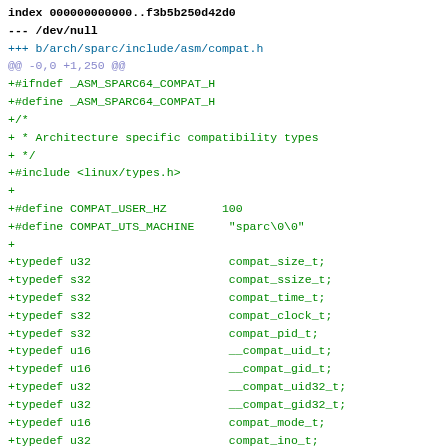index 000000000000..f3b5b250d42d0
--- /dev/null
+++ b/arch/sparc/include/asm/compat.h
@@ -0,0 +1,250 @@
+#ifndef _ASM_SPARC64_COMPAT_H
+#define _ASM_SPARC64_COMPAT_H
+/*
+ * Architecture specific compatibility types
+ */
+#include <linux/types.h>
+
+#define COMPAT_USER_HZ        100
+#define COMPAT_UTS_MACHINE     "sparc\0\0"
+
+typedef u32                    compat_size_t;
+typedef s32                    compat_ssize_t;
+typedef s32                    compat_time_t;
+typedef s32                    compat_clock_t;
+typedef s32                    compat_pid_t;
+typedef u16                    __compat_uid_t;
+typedef u16                    __compat_gid_t;
+typedef u32                    __compat_uid32_t;
+typedef u32                    __compat_gid32_t;
+typedef u16                    compat_mode_t;
+typedef u32                    compat_ino_t;
+typedef u16                    compat_dev_t;